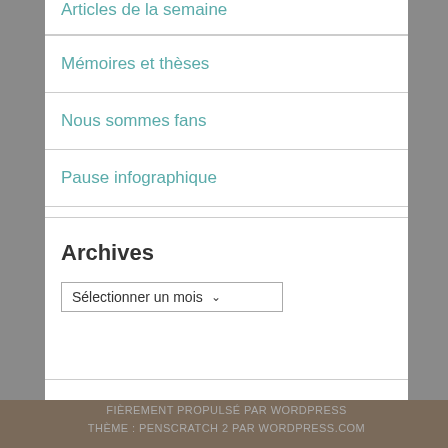Articles de la semaine
Mémoires et thèses
Nous sommes fans
Pause infographique
Archives
Sélectionner un mois
FIÈREMENT PROPULSÉ PAR WORDPRESS
THÈME : PENSCRATCH 2 PAR WORDPRESS.COM